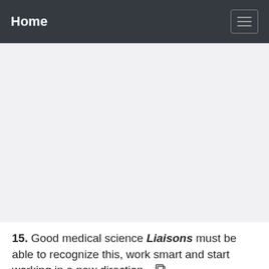Home
15. Good medical science Liaisons must be able to recognize this, work smart and start working in a new direction.